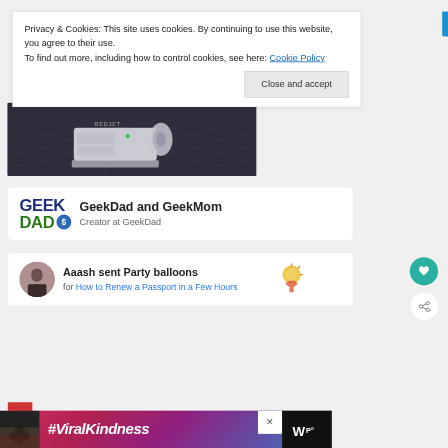Privacy & Cookies: This site uses cookies. By continuing to use this website, you agree to their use.
To find out more, including how to control cookies, see here: Cookie Policy
[Figure (photo): Partial photo of a BedJet device (white appliance) on a dark patterned surface]
[Figure (logo): GeekDad logo with blue GEEK and green DAD text, blue circular badge with dollar sign]
GeekDad and GeekMom
Creator at GeekDad
[Figure (photo): Circular avatar photo of a person in dark clothing]
Aaash sent Party balloons
for How to Renew a Passport in a Few Hours
[Figure (illustration): Party balloon / confetti icon graphic]
[Figure (photo): Ad banner showing hands making heart shape silhouette against sunset with #ViralKindness text]